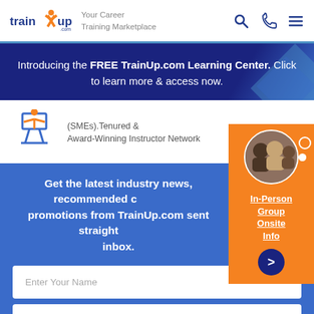train up .com — Your Career Training Marketplace
Introducing the FREE TrainUp.com Learning Center. Click to learn more & access now.
(SMEs).Tenured & Award-Winning Instructor Network
[Figure (infographic): Orange sidebar card with circular photo of group, orange dots, In-Person Group Onsite Info link and arrow button]
Get the latest industry news, recommended courses & promotions from TrainUp.com sent straight to your inbox.
Enter Your Name
Enter Your Email